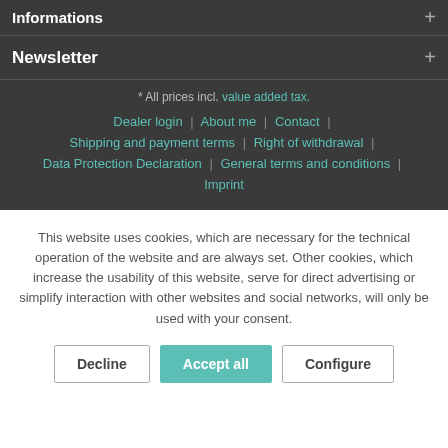Informations
Newsletter
* All prices incl. value added tax.
Dealer login | About me | Contact |
Shipping and payment terms | Right of withdrawal |
Data Protection Declaration | General terms and conditions |
Imprint
This website uses cookies, which are necessary for the technical operation of the website and are always set. Other cookies, which increase the usability of this website, serve for direct advertising or simplify interaction with other websites and social networks, will only be used with your consent.
Decline | Accept all | Configure